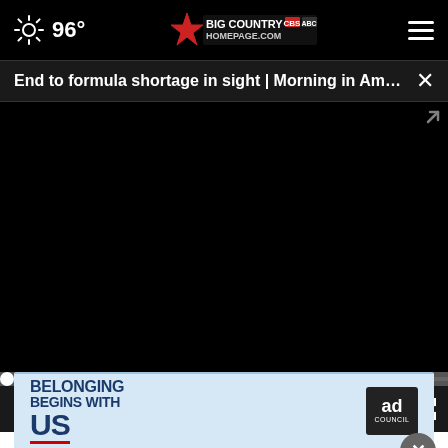96° Big Country Homepage | Navigation bar with weather, logo, and hamburger menu
End to formula shortage in sight | Morning in Ameri... ×
[Figure (screenshot): Black video player area - video not loaded/playing]
00:00
Look)
Plaque Psoriasis Treatment | S...
[Figure (infographic): Ad Council advertisement banner: BELONGING BEGINS WITH US with red underline, blue text on light blue background with Ad Council badge]